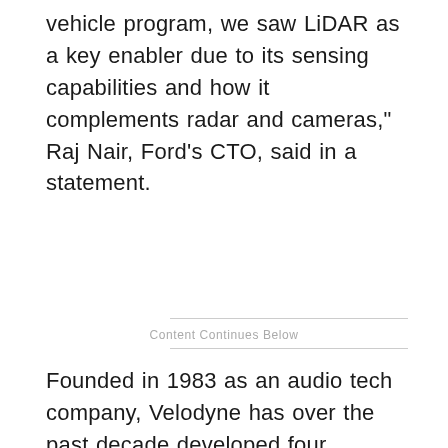vehicle program, we saw LiDAR as a key enabler due to its sensing capabilities and how it complements radar and cameras," Raj Nair, Ford's CTO, said in a statement.
Content Continues Below
Founded in 1983 as an audio tech company, Velodyne has over the past decade developed four generations LiDAR technology.
Velodyne's LiDAR technology includes proprietary software and algorithms that interpret data gathered from the laser-based